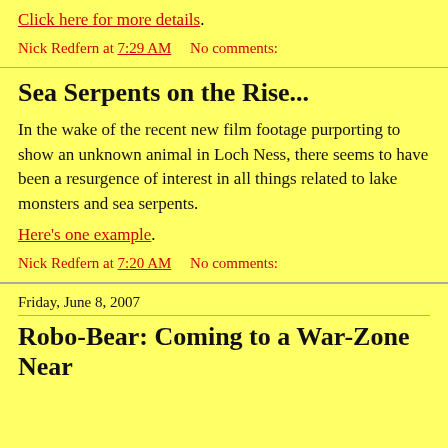Click here for more details.
Nick Redfern at 7:29 AM    No comments:
Sea Serpents on the Rise...
In the wake of the recent new film footage purporting to show an unknown animal in Loch Ness, there seems to have been a resurgence of interest in all things related to lake monsters and sea serpents.
Here's one example.
Nick Redfern at 7:20 AM    No comments:
Friday, June 8, 2007
Robo-Bear: Coming to a War-Zone Near